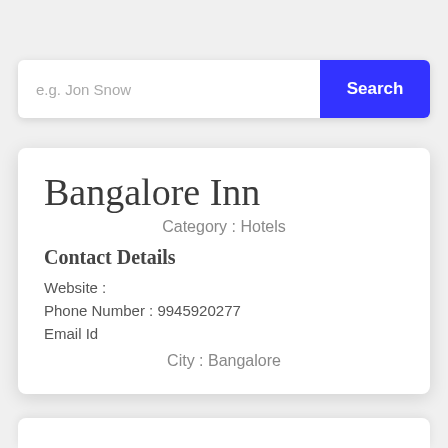e.g. Jon Snow
Search
Bangalore Inn
Category : Hotels
Contact Details
Website :
Phone Number : 9945920277
Email Id
City : Bangalore